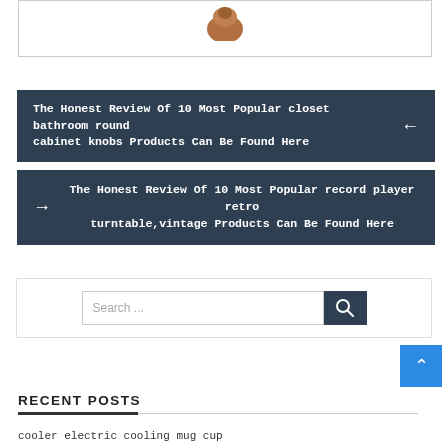[Figure (photo): Partial top image with border, partially visible product photo]
The Honest Review Of 10 Most Popular closet bathroom round cabinet knobs Products Can Be Found Here
The Honest Review Of 10 Most Popular record player retro turntable,vintage Products Can Be Found Here
[Figure (other): Search bar with text input field showing 'Search ...' placeholder and a dark search button with magnifying glass icon]
[Figure (other): Blue scroll-to-top button with upward chevron arrow]
RECENT POSTS
cooler electric cooling mug cup